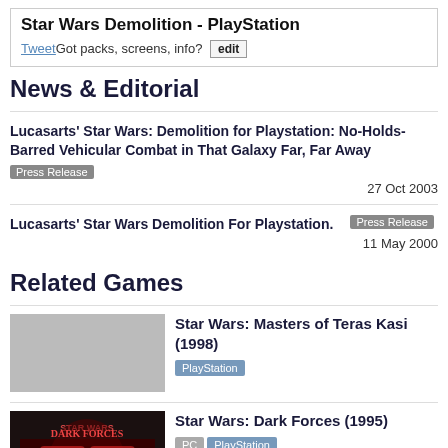Star Wars Demolition - PlayStation
Tweet Got packs, screens, info? edit
News & Editorial
Lucasarts' Star Wars: Demolition for Playstation: No-Holds-Barred Vehicular Combat in That Galaxy Far, Far Away [Press Release] 27 Oct 2003
Lucasarts' Star Wars Demolition For Playstation. [Press Release] 11 May 2000
Related Games
Star Wars: Masters of Teras Kasi (1998) PlayStation
Star Wars: Dark Forces (1995) PC PlayStation